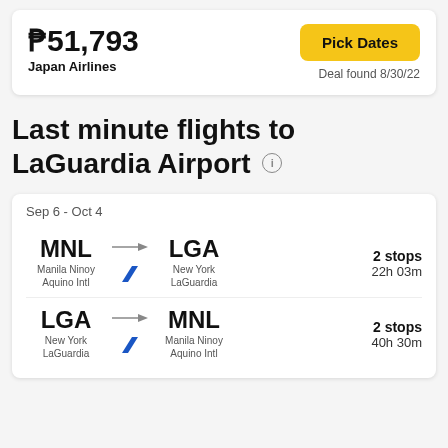₱51,793
Japan Airlines
Pick Dates
Deal found 8/30/22
Last minute flights to LaGuardia Airport
Sep 6 - Oct 4
MNL → LGA, Manila Ninoy Aquino Intl to New York LaGuardia, 2 stops, 22h 03m
LGA → MNL, New York LaGuardia to Manila Ninoy Aquino Intl, 2 stops, 40h 30m